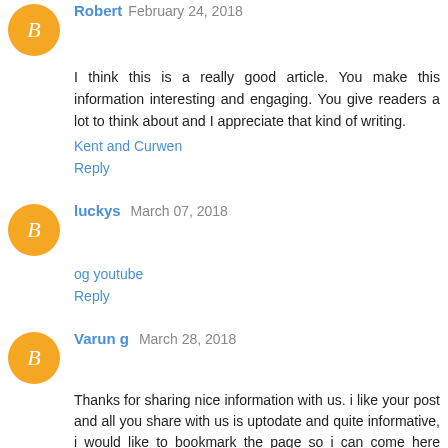Robert February 24, 2018
I think this is a really good article. You make this information interesting and engaging. You give readers a lot to think about and I appreciate that kind of writing.
Kent and Curwen
Reply
luckys March 07, 2018
og youtube
Reply
Varun g March 28, 2018
Thanks for sharing nice information with us. i like your post and all you share with us is uptodate and quite informative, i would like to bookmark the page so i can come here again to read you, as you have done a wonderful job. I found your blog using msn. This is an extremely well written article as UP Board Result 2018 . I will be sure to bookmark it and